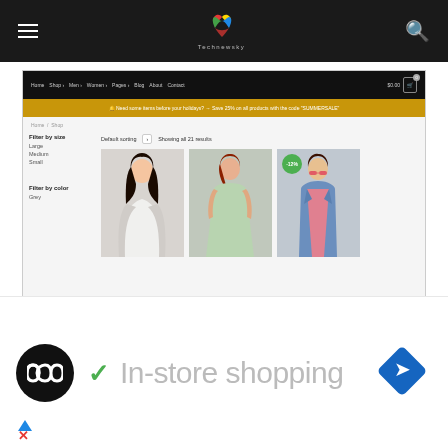[Figure (screenshot): E-commerce website screenshot showing Technewsky shop with navigation bar, promotional banner, filter sidebar, and product grid with women's clothing items. A notification popup shows 'Someone in New York, USA purchased a Double-breasted jacket About 3 hours ago'.]
✓  In-store shopping
[Figure (logo): Infinity loop logo icon (black circle with white infinity symbol)]
[Figure (other): Blue diamond/navigation arrow icon]